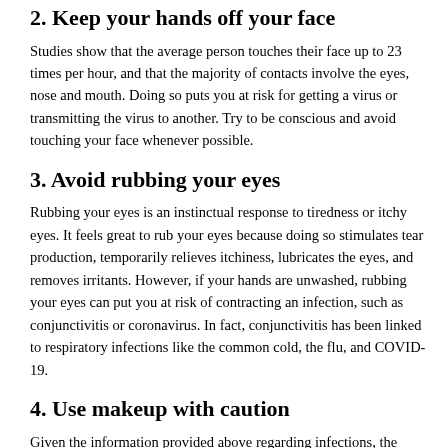2. Keep your hands off your face
Studies show that the average person touches their face up to 23 times per hour, and that the majority of contacts involve the eyes, nose and mouth. Doing so puts you at risk for getting a virus or transmitting the virus to another. Try to be conscious and avoid touching your face whenever possible.
3. Avoid rubbing your eyes
Rubbing your eyes is an instinctual response to tiredness or itchy eyes. It feels great to rub your eyes because doing so stimulates tear production, temporarily relieves itchiness, lubricates the eyes, and removes irritants. However, if your hands are unwashed, rubbing your eyes can put you at risk of contracting an infection, such as conjunctivitis or coronavirus. In fact, conjunctivitis has been linked to respiratory infections like the common cold, the flu, and COVID-19.
4. Use makeup with caution
Given the information provided above regarding infections, the following advice should come as no surprise: